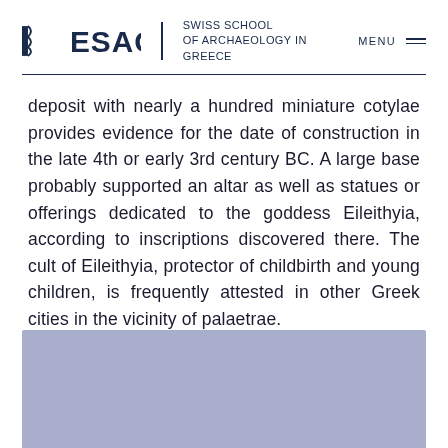ESAG | SWISS SCHOOL OF ARCHAEOLOGY IN GREECE   MENU
deposit with nearly a hundred miniature cotylae provides evidence for the date of construction in the late 4th or early 3rd century BC. A large base probably supported an altar as well as statues or offerings dedicated to the goddess Eileithyia, according to inscriptions discovered there. The cult of Eileithyia, protector of childbirth and young children, is frequently attested in other Greek cities in the vicinity of palaetrae.
[Figure (photo): Partially visible photograph with blue-purple/lavender tones, cropped at bottom of page]